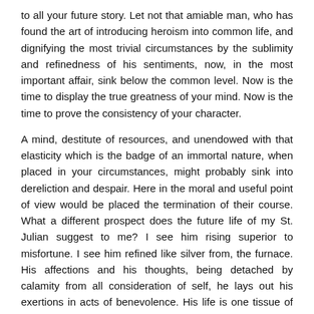to all your future story. Let not that amiable man, who has found the art of introducing heroism into common life, and dignifying the most trivial circumstances by the sublimity and refinedness of his sentiments, now, in the most important affair, sink below the common level. Now is the time to display the true greatness of your mind. Now is the time to prove the consistency of your character.
A mind, destitute of resources, and unendowed with that elasticity which is the badge of an immortal nature, when placed in your circumstances, might probably sink into dereliction and despair. Here in the moral and useful point of view would be placed the termination of their course. What a different prospect does the future life of my St. Julian suggest to me? I see him rising superior to misfortune. I see him refined like silver from, the furnace. His affections and his thoughts, being detached by calamity from all consideration of self, he lays out his exertions in acts of benevolence. His life is one tissue of sympathy and compassion. He is an extensive benefit to mankind. His influence, like that of the sun, cheers the hopeless, and illuminates the desolate. How necessary are such characters as these, to soften the rigour of the sublunary scene, and to stamp an impression of dignity on the degeneracy of the human character?